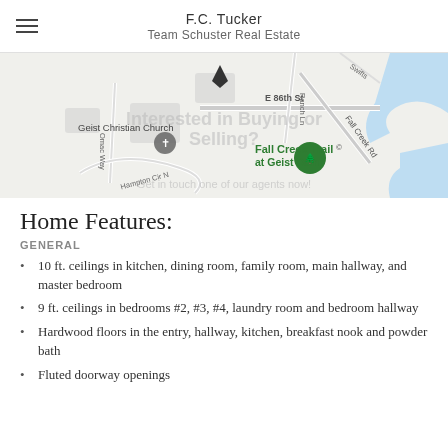F.C. Tucker
Team Schuster Real Estate
[Figure (map): Google Maps view showing Fall Creek Trail at Geist Dam area, with Geist Christian Church, E 86th St, Fall Creek Rd, Omac Way, Hampton Cir N, Ranch Ln. Overlaid text reads 'Interested in Buying or Selling? Get in touch one of our agents now!']
Home Features:
GENERAL
10 ft. ceilings in kitchen, dining room, family room, main hallway, and master bedroom
9 ft. ceilings in bedrooms #2, #3, #4, laundry room and bedroom hallway
Hardwood floors in the entry, hallway, kitchen, breakfast nook and powder bath
Fluted doorway openings